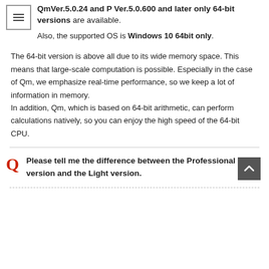QmVer.5.0.24 and P Ver.5.0.600 and later only 64-bit versions are available. Also, the supported OS is Windows 10 64bit only.
The 64-bit version is above all due to its wide memory space. This means that large-scale computation is possible. Especially in the case of Qm, we emphasize real-time performance, so we keep a lot of information in memory. In addition, Qm, which is based on 64-bit arithmetic, can perform calculations natively, so you can enjoy the high speed of the 64-bit CPU.
Please tell me the difference between the Professional version and the Light version.